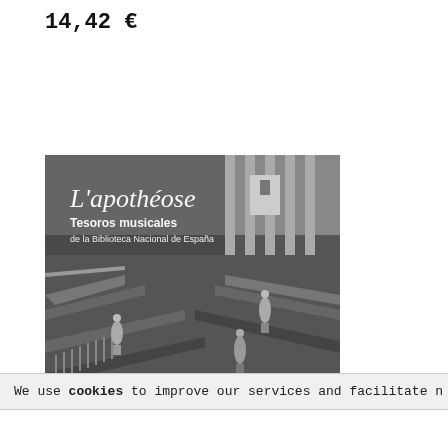14,42 €
[Figure (photo): Album cover for 'L'apothéose – Tesoros musicales de la Biblioteca Nacional de España'. Shows a black and white photograph of a grand neoclassical staircase with statues and columns. White italic text reads 'L'apothéose' and below it 'Tesoros musicales / de la Biblioteca Nacional de España'.]
We use cookies to improve our services and facilitate n